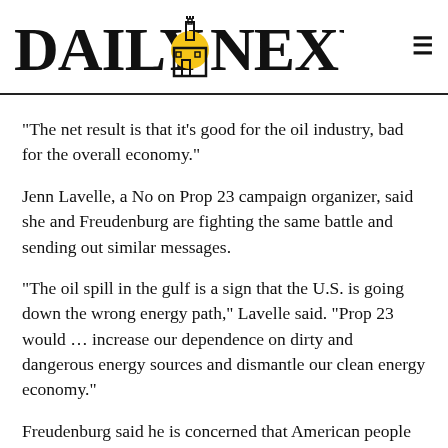DAILY NEXUS
"The net result is that it's good for the oil industry, bad for the overall economy."
Jenn Lavelle, a No on Prop 23 campaign organizer, said she and Freudenburg are fighting the same battle and sending out similar messages.
"The oil spill in the gulf is a sign that the U.S. is going down the wrong energy path," Lavelle said. "Prop 23 would ... increase our dependence on dirty and dangerous energy sources and dismantle our clean energy economy."
Freudenburg said he is concerned that American people are not getting a fair share of compensation or information from the government.